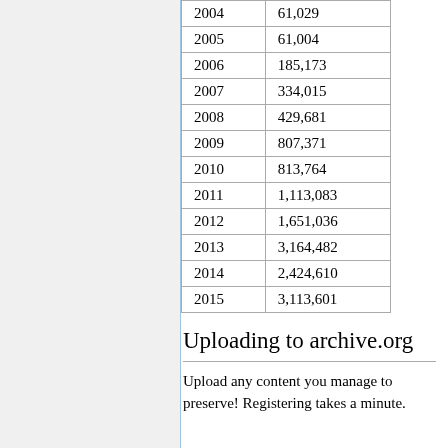| Year | Count |
| --- | --- |
| 2004 | 61,029 |
| 2005 | 61,004 |
| 2006 | 185,173 |
| 2007 | 334,015 |
| 2008 | 429,681 |
| 2009 | 807,371 |
| 2010 | 813,764 |
| 2011 | 1,113,083 |
| 2012 | 1,651,036 |
| 2013 | 3,164,482 |
| 2014 | 2,424,610 |
| 2015 | 3,113,601 |
Uploading to archive.org
Upload any content you manage to preserve! Registering takes a minute.